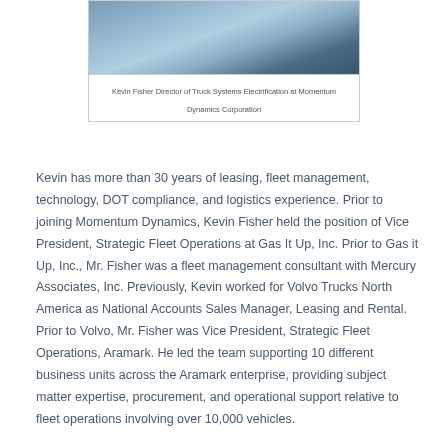[Figure (photo): Headshot photo of Kevin Fisher, showing a man in a blue shirt and tie with a grey jacket background]
Kevin Fisher Director of Truck Systems Electrification at Momentum Dynamics Corporation
Kevin has more than 30 years of leasing, fleet management, technology, DOT compliance, and logistics experience. Prior to joining Momentum Dynamics, Kevin Fisher held the position of Vice President, Strategic Fleet Operations at Gas It Up, Inc. Prior to Gas it Up, Inc., Mr. Fisher was a fleet management consultant with Mercury Associates, Inc. Previously, Kevin worked for Volvo Trucks North America as National Accounts Sales Manager, Leasing and Rental. Prior to Volvo, Mr. Fisher was Vice President, Strategic Fleet Operations, Aramark. He led the team supporting 10 different business units across the Aramark enterprise, providing subject matter expertise, procurement, and operational support relative to fleet operations involving over 10,000 vehicles.